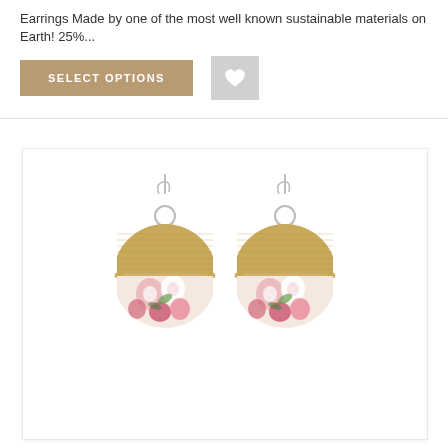Earrings Made by one of the most well known sustainable materials on Earth! 25%...
[Figure (photo): Two circular bamboo and floral fabric drop earrings with silver hooks, displayed on white background. Each earring has a bamboo wood upper half and a colorful floral print lower half, connected by a metal bar.]